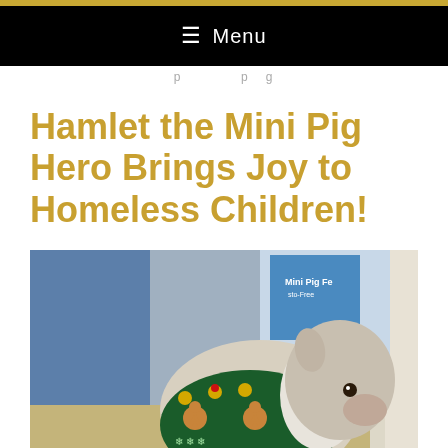≡ Menu
Hamlet the Mini Pig Hero Brings Joy to Homeless Children!
[Figure (photo): A small white mini pig wearing a dark green Christmas sweater/vest decorated with gingerbread men, snowflakes, and gold jingle bells, sitting on carpet. In the background is a blue wall and a bag of Mini Pig Feed.]